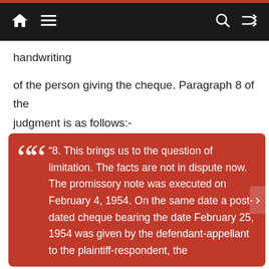Navigation bar with home, menu, search, and shuffle icons
handwriting
of the person giving the cheque. Paragraph 8 of the judgment is as follows:-
“8. This brings us to the question of limitation. The facts are not in dispute now. The promissory note was executed on February 4, 1954. On the same date a post-dated cheque bearing the date February 25, 1954 was given by the defendant-appellant to the plaintiff-respondent, the